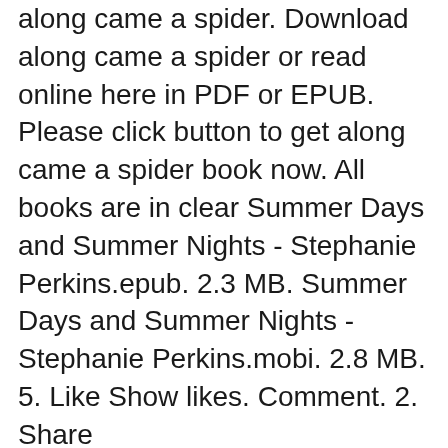along came a spider. Download along came a spider or read online here in PDF or EPUB. Please click button to get along came a spider book now. All books are in clear Summer Days and Summer Nights - Stephanie Perkins.epub. 2.3 MB. Summer Days and Summer Nights - Stephanie Perkins.mobi. 2.8 MB. 5. Like Show likes. Comment. 2. Share
Download Ebook : along came spider in PDF Format. also available for mobile reader "A new fantastic ORIGINAL paranormal series is born!" вЂ"Paranormal Cravings Along came a spider. . . When Trish Muffet is attacked at a grisly crime scene, the last